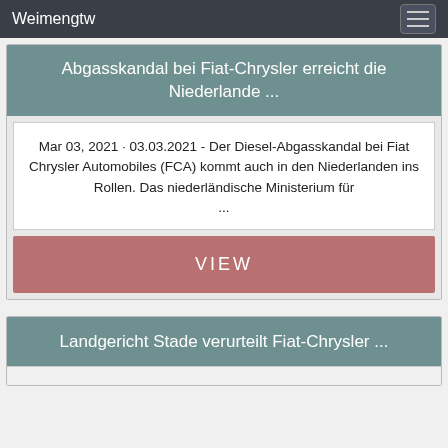Weimengtw
Abgasskandal bei Fiat-Chrysler erreicht die Niederlande ...
Mar 03, 2021 · 03.03.2021 - Der Diesel-Abgasskandal bei Fiat Chrysler Automobiles (FCA) kommt auch in den Niederlanden ins Rollen. Das niederländische Ministerium für ...
VIEW
Landgericht Stade verurteilt Fiat-Chrysler ...